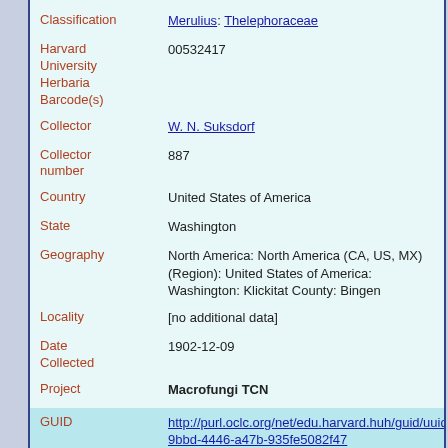| Field | Value |
| --- | --- |
| Classification | Merulius: Thelephoraceae |
| Harvard University Herbaria Barcode(s) | 00532417 |
| Collector | W. N. Suksdorf |
| Collector number | 887 |
| Country | United States of America |
| State | Washington |
| Geography | North America: North America (CA, US, MX) (Region): United States of America: Washington: Klickitat County: Bingen |
| Locality | [no additional data] |
| Date Collected | 1902-12-09 |
| Project | Macrofungi TCN |
| GUID | http://purl.oclc.org/net/edu.harvard.huh/guid/uuid/6509bbd-4446-a47b-935fe5082f47 |
| Harvard University Herbaria Barcode | 00532417 |